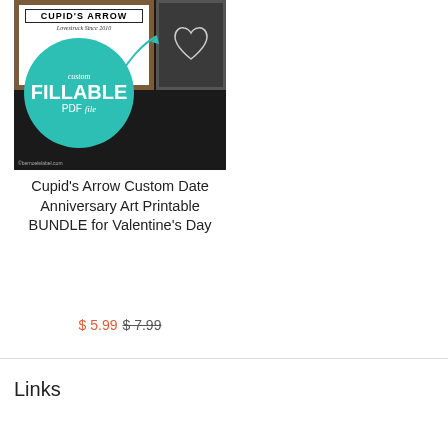[Figure (photo): Product image showing a framed 'Cupid's Arrow / Lovestruck Since 2010' sign, a chalk heart board, and a teal circle overlay reading 'custom FILLABLE PDF file']
Cupid's Arrow Custom Date Anniversary Art Printable BUNDLE for Valentine's Day
$ 5.99 $ 7.99
Links